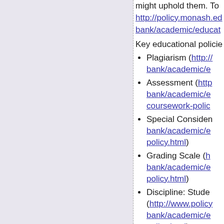might uphold them. To http://policy.monash.edu bank/academic/educat
Key educational policie
Plagiarism (http:// bank/academic/e
Assessment (http bank/academic/e coursework-polic
Special Consider bank/academic/e policy.html)
Grading Scale (h bank/academic/e policy.html)
Discipline: Stude (http://www.policy bank/academic/e policy.html)
Academic Calen (http://www.mona
Orientation and T (http://www.infote